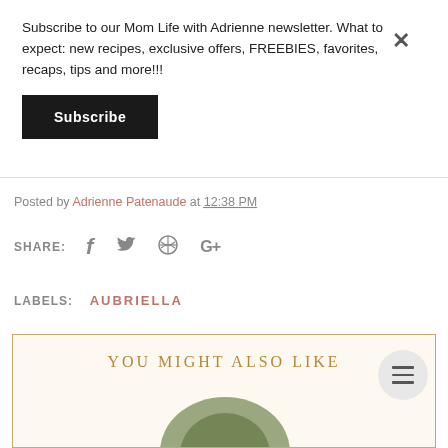Subscribe to our Mom Life with Adrienne newsletter. What to expect: new recipes, exclusive offers, FREEBIES, favorites, recaps, tips and more!!!
Subscribe
Posted by Adrienne Patenaude at 12:38 PM
SHARE:
LABELS:  AUBRIELLA
YOU MIGHT ALSO LIKE
[Figure (photo): Partial view of a photo at the bottom of the 'You Might Also Like' section]